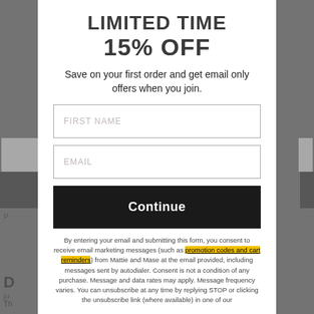LIMITED TIME
15% OFF
Save on your first order and get email only offers when you join.
FIRST NAME
EMAIL
Continue
By entering your email and submitting this form, you consent to receive email marketing messages (such as promotion codes and cart reminders) from Mattie and Mase at the email provided, including messages sent by autodialer. Consent is not a condition of any purchase. Message and data rates may apply. Message frequency varies. You can unsubscribe at any time by replying STOP or clicking the unsubscribe link (where available) in one of our